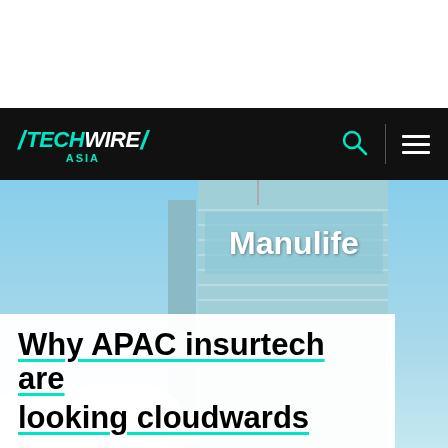[Figure (photo): Manulife building skyscraper against a blue sky with clouds, with the Manulife logo visible on the building facade]
Why APAC insurtech are looking cloudwards